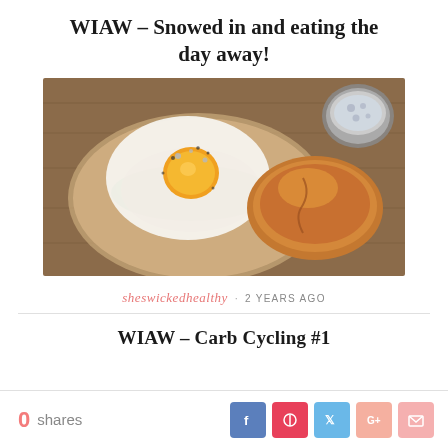WIAW – Snowed in and eating the day away!
[Figure (photo): Overhead photo of a fried egg sandwich on parchment paper on a wooden board, with a croissant and a small bowl of blue cheese crumbles in the upper right corner.]
sheswickedhealthy · 2 YEARS AGO
WIAW – Carb Cycling #1
0 shares